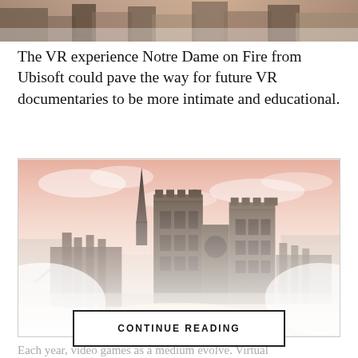[Figure (photo): Top portion of a photo/cityscape image cropped at the top of the page]
The VR experience Notre Dame on Fire from Ubisoft could pave the way for future VR documentaries to be more intimate and educational.
[Figure (illustration): Artistic rendering of Notre Dame cathedral with a pinkish-red sky and misty Paris cityscape surroundings from the VR game Notre Dame on Fire by Ubisoft]
Each year, video games as a medium evolve. Virtual reality...
CONTINUE READING